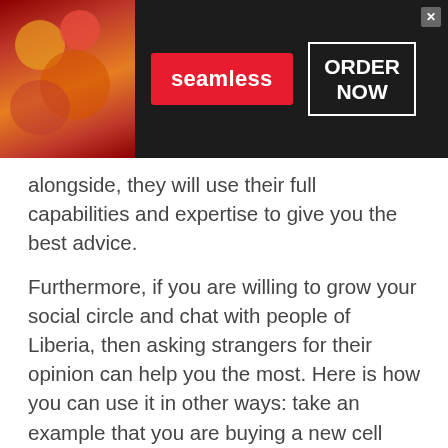[Figure (screenshot): Seamless food delivery advertisement banner with pizza image on left, red Seamless logo badge in center, and 'ORDER NOW' button on right, on dark background]
alongside, they will use their full capabilities and expertise to give you the best advice.
Furthermore, if you are willing to grow your social circle and chat with people of Liberia, then asking strangers for their opinion can help you the most. Here is how you can use it in other ways: take an example that you are buying a new cell phone of the brand that has been super popular in any country. You might be already aware of all the specifications
[Figure (screenshot): Groupon Official Site online shopping deals advertisement banner with thumbnail images and blue arrow button]